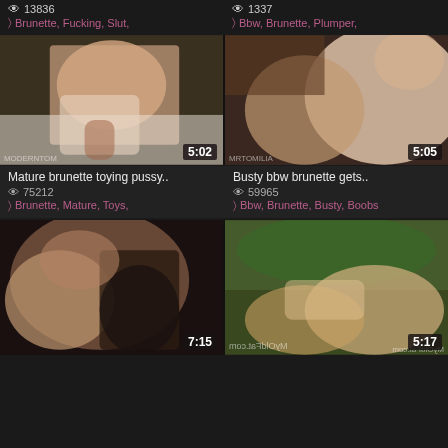13836 | Brunette, Fucking, Slut,
1337 | Bbw, Brunette, Plumper,
[Figure (photo): Mature brunette woman on bed with toy, duration 5:02, watermark MODERNTOM]
[Figure (photo): Busty BBW brunette with man, duration 5:05, watermark MRTOMILIA]
Mature brunette toying pussy..
75212
Brunette, Mature, Toys,
Busty bbw brunette gets..
59965
Bbw, Brunette, Busty, Boobs
[Figure (photo): Woman performing oral sex, dark background, duration 7:15]
[Figure (photo): Outdoor scene with woman, duration 5:17, watermark MyOldFat.com]